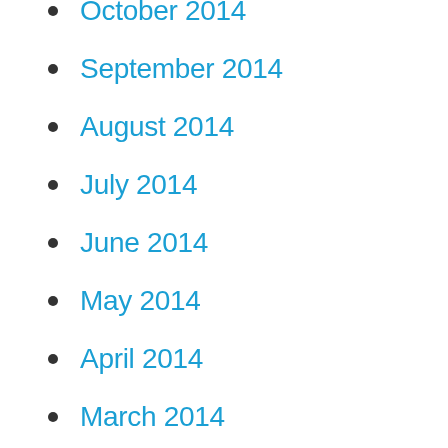October 2014
September 2014
August 2014
July 2014
June 2014
May 2014
April 2014
March 2014
February 2014
January 2014
December 2013
November 2013
October 2013
September 2013
August 2013
July 2013
June 2013